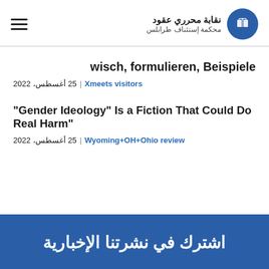نقابة محرري عقود | محكمة إستئناف طرابلس
wisch, formulieren, Beispiele
25 أغسطس، 2022 | Xmeets visitors
"Gender Ideology" Is a Fiction That Could Do Real Harm"
25 أغسطس، 2022 | Wyoming+OH+Ohio review
اشترك في نشرتنا الإخبارية